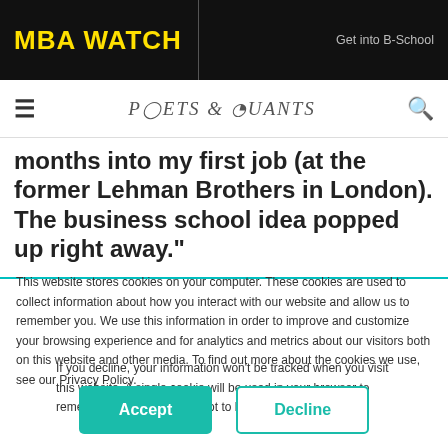MBA WATCH | Get into B-School
[Figure (logo): Poets & Quants logo with hamburger menu and search icon]
months into my first job (at the former Lehman Brothers in London). The business school idea popped up right away."
This website stores cookies on your computer. These cookies are used to collect information about how you interact with our website and allow us to remember you. We use this information in order to improve and customize your browsing experience and for analytics and metrics about our visitors both on this website and other media. To find out more about the cookies we use, see our Privacy Policy.
If you decline, your information won't be tracked when you visit this website. A single cookie will be used in your browser to remember your preference not to be tracked.